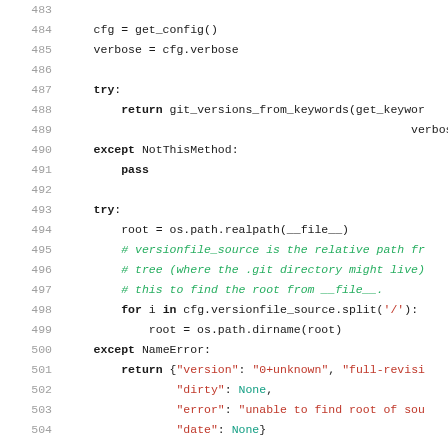[Figure (screenshot): Python source code listing lines 483–504. Shows function body with try/except blocks and dictionary return statement.]